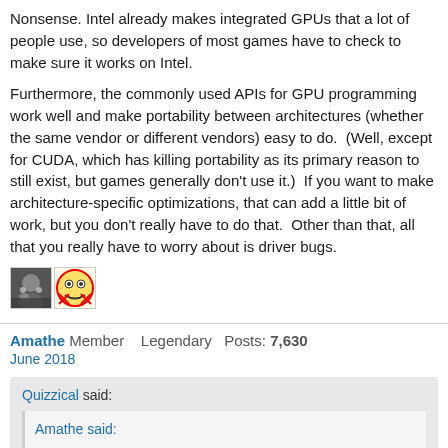Nonsense. Intel already makes integrated GPUs that a lot of people use, so developers of most games have to check to make sure it works on Intel.
Furthermore, the commonly used APIs for GPU programming work well and make portability between architectures (whether the same vendor or different vendors) easy to do.  (Well, except for CUDA, which has killing portability as its primary reason to still exist, but games generally don't use it.)  If you want to make architecture-specific optimizations, that can add a little bit of work, but you don't really have to do that.  Other than that, all that you really have to worry about is driver bugs.
[Figure (photo): Two user avatar images side by side]
Amathe Member    Legendary   Posts: 7,630
June 2018
Quizzical said:
Amathe said:
I picture some poor guy who now has to consider three companies when coding games. Bet he doesn't get a raise for the extra work.